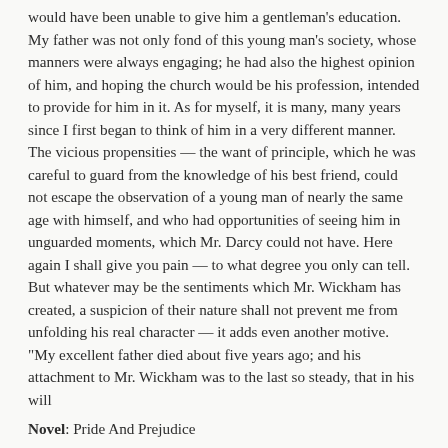would have been unable to give him a gentleman's education. My father was not only fond of this young man's society, whose manners were always engaging; he had also the highest opinion of him, and hoping the church would be his profession, intended to provide for him in it. As for myself, it is many, many years since I first began to think of him in a very different manner. The vicious propensities — the want of principle, which he was careful to guard from the knowledge of his best friend, could not escape the observation of a young man of nearly the same age with himself, and who had opportunities of seeing him in unguarded moments, which Mr. Darcy could not have. Here again I shall give you pain — to what degree you only can tell. But whatever may be the sentiments which Mr. Wickham has created, a suspicion of their nature shall not prevent me from unfolding his real character — it adds even another motive. "My excellent father died about five years ago; and his attachment to Mr. Wickham was to the last so steady, that in his will
Novel: Pride And Prejudice
Character: Mr. Darcy
Link to text in chapter 35